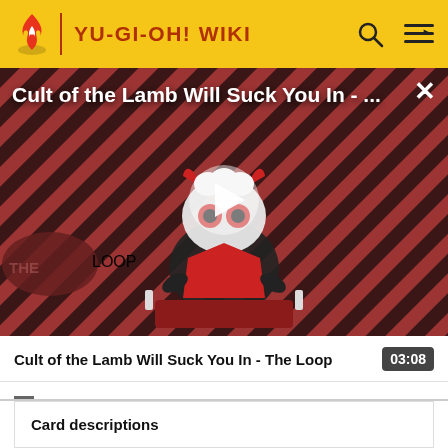YU-GI-OH! WIKI
[Figure (screenshot): Video thumbnail showing 'Cult of the Lamb Will Suck You In - ...' with a cartoon lamb character and 'THE LOOP' text overlay on a striped red and dark background, with a play button in the center]
Cult of the Lamb Will Suck You In - The Loop  03:08
Card descriptions
TCG sets